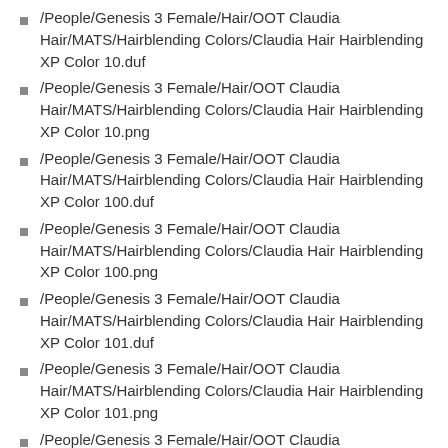/People/Genesis 3 Female/Hair/OOT Claudia Hair/MATS/Hairblending Colors/Claudia Hair Hairblending XP Color 10.duf
/People/Genesis 3 Female/Hair/OOT Claudia Hair/MATS/Hairblending Colors/Claudia Hair Hairblending XP Color 10.png
/People/Genesis 3 Female/Hair/OOT Claudia Hair/MATS/Hairblending Colors/Claudia Hair Hairblending XP Color 100.duf
/People/Genesis 3 Female/Hair/OOT Claudia Hair/MATS/Hairblending Colors/Claudia Hair Hairblending XP Color 100.png
/People/Genesis 3 Female/Hair/OOT Claudia Hair/MATS/Hairblending Colors/Claudia Hair Hairblending XP Color 101.duf
/People/Genesis 3 Female/Hair/OOT Claudia Hair/MATS/Hairblending Colors/Claudia Hair Hairblending XP Color 101.png
/People/Genesis 3 Female/Hair/OOT Claudia Hair/MATS/Hairblending Colors/Claudia Hair Hairblending XP Color 102.duf